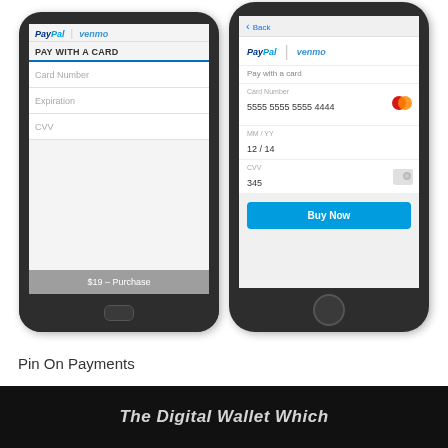[Figure (screenshot): Two mobile phone screenshots showing PayPal/Venmo payment forms. Left (Android): 'PAY WITH A CARD' form with Card Number, Expiration, CVV fields and '$19 – Purchase' footer. Right (iOS): 'Pay with a card' form filled with card number 5555 5555 5555 4444, MM/YY 12/14, CVV 345, and a 'Buy Now' blue button.]
Pin On Payments
[Figure (screenshot): Bottom dark black strip with partially visible italic white text (appears to start with 'The Digital Wallet Which...')]